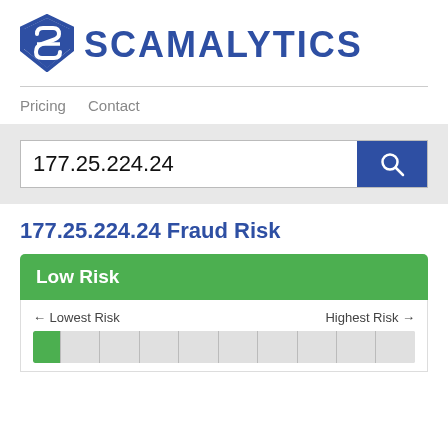[Figure (logo): Scamalytics shield logo with letter S]
SCAMALYTICS
Pricing   Contact
177.25.224.24
177.25.224.24 Fraud Risk
Low Risk
← Lowest Risk   Highest Risk →